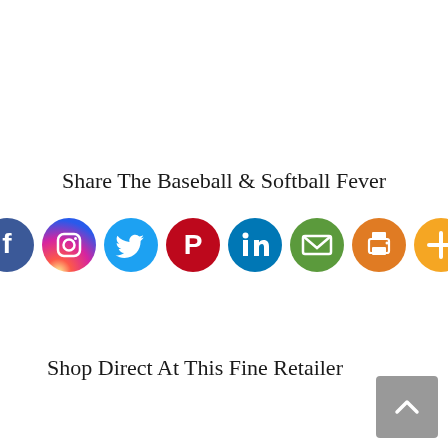Share The Baseball & Softball Fever
[Figure (infographic): Row of 8 social media and sharing icon circles: Facebook (blue), Instagram (gradient pink/purple), Twitter (light blue), Pinterest (red), LinkedIn (blue), Email (green), Print (orange), More/Plus (orange)]
Shop Direct At This Fine Retailer